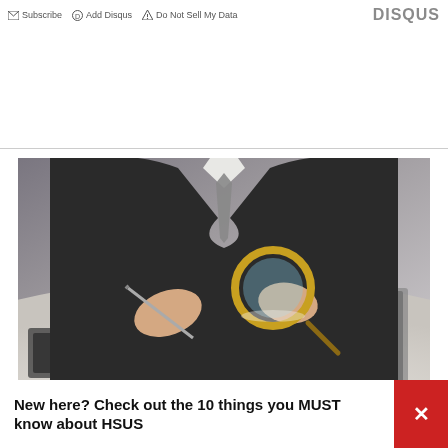Subscribe  Add Disqus  Do Not Sell My Data   DISQUS
[Figure (photo): Person in suit holding a magnifying glass over documents on a desk, with a laptop and binder visible]
New here? Check out the 10 things you MUST know about HSUS